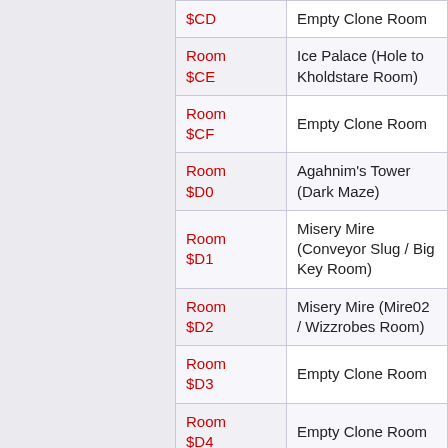| Room | Name |
| --- | --- |
| $CD | Empty Clone Room |
| Room $CE | Ice Palace (Hole to Kholdstare Room) |
| Room $CF | Empty Clone Room |
| Room $D0 | Agahnim's Tower (Dark Maze) |
| Room $D1 | Misery Mire (Conveyor Slug / Big Key Room) |
| Room $D2 | Misery Mire (Mire02 / Wizzrobes Room) |
| Room $D3 | Empty Clone Room |
| Room $D4 | Empty Clone Room |
| Room $D5 | Turtle Rock (Laser Key Room) |